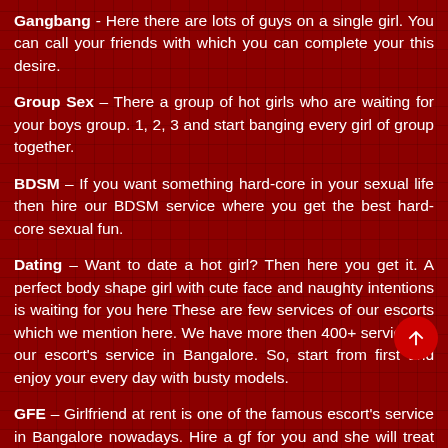Gangbang - Here there are lots of guys on a single girl. You can call your friends with which you can complete your this desire.
Group Sex – There a group of hot girls who are waiting for your boys group. 1, 2, 3 and start banging every girl of group together.
BDSM – If you want something hard-core in your sexual life then hire our BDSM service where you get the best hard-core sexual fun.
Dating – Want to date a hot girl? Then here you get it. A perfect body shape girl with cute face and naughty intentions is waiting for you here These are few services of our escorts which we mention here. We have more then 400+ services in our escort's service in Bangalore. So, start from first and enjoy your every day with busty models.
GFE – Girlfriend at rent is one of the famous escort's service in Bangalore nowadays. Hire a gf for you and she will treat you better